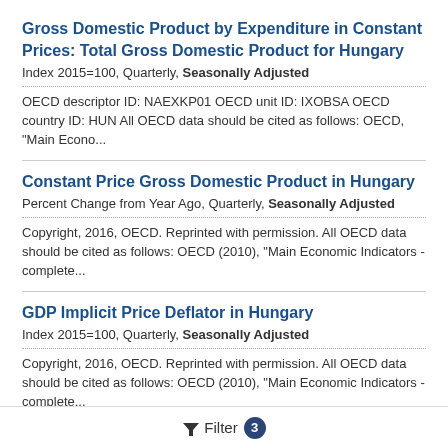Gross Domestic Product by Expenditure in Constant Prices: Total Gross Domestic Product for Hungary
Index 2015=100, Quarterly, Seasonally Adjusted
OECD descriptor ID: NAEXKP01 OECD unit ID: IXOBSA OECD country ID: HUN All OECD data should be cited as follows: OECD, "Main Econo...
Constant Price Gross Domestic Product in Hungary
Percent Change from Year Ago, Quarterly, Seasonally Adjusted
Copyright, 2016, OECD. Reprinted with permission. All OECD data should be cited as follows: OECD (2010), "Main Economic Indicators - complete...
GDP Implicit Price Deflator in Hungary
Index 2015=100, Quarterly, Seasonally Adjusted
Copyright, 2016, OECD. Reprinted with permission. All OECD data should be cited as follows: OECD (2010), "Main Economic Indicators - complete...
Filter 3